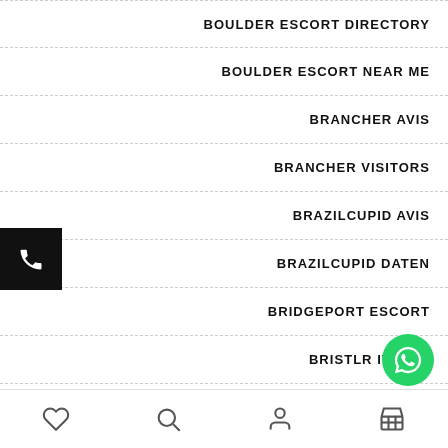BOULDER ESCORT DIRECTORY
BOULDER ESCORT NEAR ME
BRANCHER AVIS
BRANCHER VISITORS
BRAZILCUPID AVIS
BRAZILCUPID DATEN
BRIDGEPORT ESCORT
BRISTLR IT REVI…
[Figure (other): Phone call button (black square with white phone icon) on left side]
[Figure (other): WhatsApp floating action button (green circle with white WhatsApp logo)]
[Figure (other): Bottom navigation bar with heart, search, person, and store icons]